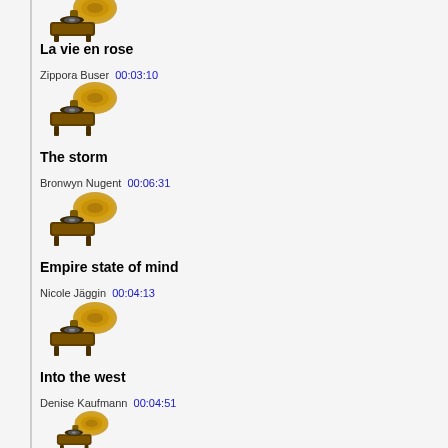[Figure (illustration): Gramophone/phonograph icon]
La vie en rose
Zippora Buser  00:03:10
[Figure (illustration): Gramophone/phonograph icon]
The storm
Bronwyn Nugent  00:06:31
[Figure (illustration): Gramophone/phonograph icon]
Empire state of mind
Nicole Jäggin  00:04:13
[Figure (illustration): Gramophone/phonograph icon]
Into the west
Denise Kaufmann  00:04:51
[Figure (illustration): Gramophone/phonograph icon]